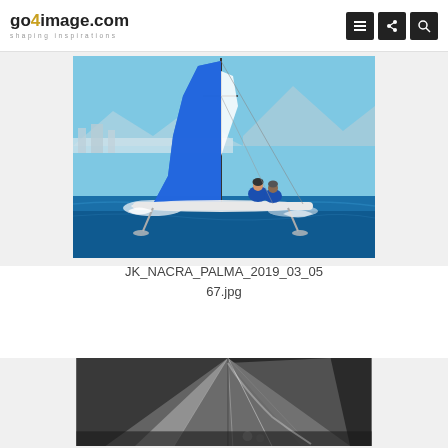go4image.com shaping inspirations
[Figure (photo): Sailing catamaran with blue sail on water, two sailors in blue gear, city and mountains in background, bright sunny day. Image from go4image.com stock photography.]
JK_NACRA_PALMA_2019_03_05 67.jpg
[Figure (photo): Black and white sailing photograph showing large sail viewed from below, with sailors visible at bottom of frame.]